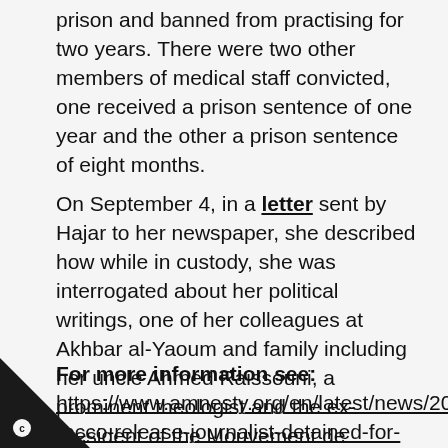prison and banned from practising for two years. There were two other members of medical staff convicted, one received a prison sentence of one year and the other a prison sentence of eight months.
On September 4, in a letter sent by Hajar to her newspaper, she described how while in custody, she was interrogated about her political writings, one of her colleagues at Akhbar al-Yaoum and family including her uncle Ahmed Raissouni, a prominent theologist and the ex-president of the Mouvement de l'Unicité et de la Réforme (MUR), one of the largest Islamic movements in Morocco.
For more information see: https://www.amnesty.org/en/latest/news/2019/09/rocco-release-journalist-detained-for-unlawful-on/